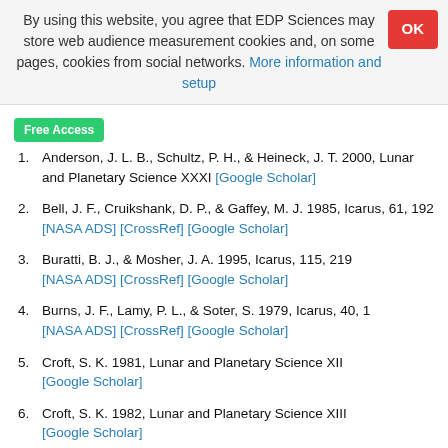By using this website, you agree that EDP Sciences may store web audience measurement cookies and, on some pages, cookies from social networks. More information and setup
Free Access
1. Anderson, J. L. B., Schultz, P. H., & Heineck, J. T. 2000, Lunar and Planetary Science XXXI [Google Scholar]
2. Bell, J. F., Cruikshank, D. P., & Gaffey, M. J. 1985, Icarus, 61, 192 [NASA ADS] [CrossRef] [Google Scholar]
3. Buratti, B. J., & Mosher, J. A. 1995, Icarus, 115, 219 [NASA ADS] [CrossRef] [Google Scholar]
4. Burns, J. F., Lamy, P. L., & Soter, S. 1979, Icarus, 40, 1 [NASA ADS] [CrossRef] [Google Scholar]
5. Croft, S. K. 1981, Lunar and Planetary Science XII [Google Scholar]
6. Croft, S. K. 1982, Lunar and Planetary Science XIII [Google Scholar]